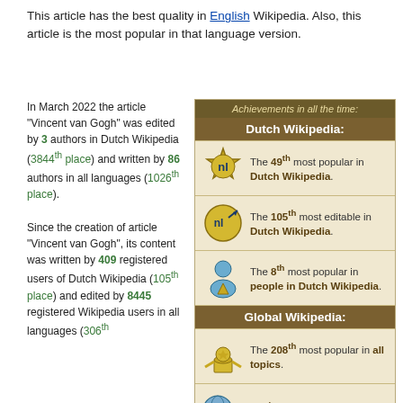This article has the best quality in English Wikipedia. Also, this article is the most popular in that language version.
In March 2022 the article "Vincent van Gogh" was edited by 3 authors in Dutch Wikipedia (3844th place) and written by 86 authors in all languages (1026th place). Since the creation of article "Vincent van Gogh", its content was written by 409 registered users of Dutch Wikipedia (105th place) and edited by 8445 registered Wikipedia users in all languages (306th
| Icon | Achievement |
| --- | --- |
| Achievements in all the time: |
| Dutch Wikipedia: |
| nl badge | The 49th most popular in Dutch Wikipedia. |
| nl arrow badge | The 105th most editable in Dutch Wikipedia. |
| person badge | The 8th most popular in people in Dutch Wikipedia. |
| Global Wikipedia: |
| medal badge | The 208th most popular in all topics. |
| globe+calculator badge | 306th most popular in AI. |